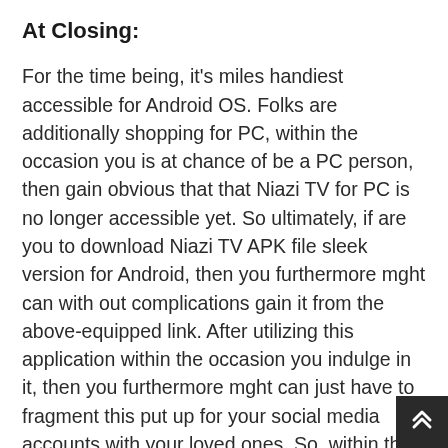At Closing:
For the time being, it's miles handiest accessible for Android OS. Folks are additionally shopping for PC, within the occasion you is at chance of be a PC person, then gain obvious that that Niazi TV for PC is no longer accessible yet. So ultimately, if are you to download Niazi TV APK file sleek version for Android, then you furthermore mght can with out complications gain it from the above-equipped link. After utilizing this application within the occasion you indulge in it, then you furthermore mght can just have to fragment this put up for your social media accounts with your loved ones. So, within the occasion you furthermore mght can just beget any questions related to this application or article, then you ought to observation below. Hope we will strive our easiest to allow you to as rapidly as that you